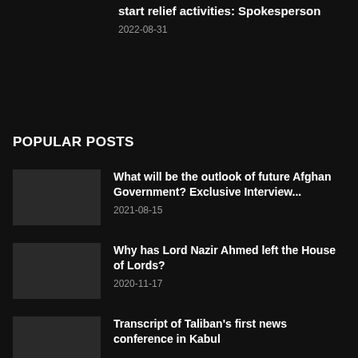start relief activities: Spokesperson
2022-08-31
POPULAR POSTS
What will be the outlook of future Afghan Government? Exclusive Interview...
2021-08-15
Why has Lord Nazir Ahmed left the House of Lords?
2020-11-17
Transcript of Taliban's first news conference in Kabul